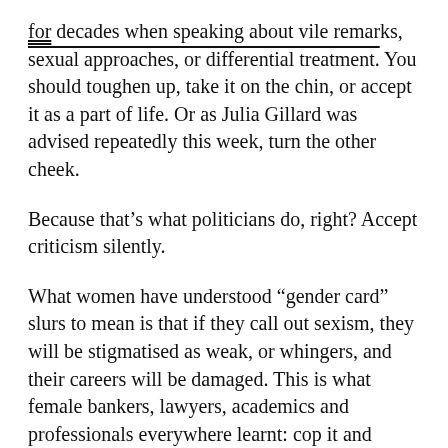for decades when speaking about vile remarks, sexual approaches, or differential treatment. You should toughen up, take it on the chin, or accept it as a part of life. Or as Julia Gillard was advised repeatedly this week, turn the other cheek.
Because that’s what politicians do, right? Accept criticism silently.
What women have understood “gender card” slurs to mean is that if they call out sexism, they will be stigmatised as weak, or whingers, and their careers will be damaged. This is what female bankers, lawyers, academics and professionals everywhere learnt: cop it and move on, despite the cost.
And this is why Gillard’s speech in Parliament this week, in the middle of another grubby debate about grubby texts and a grubby court case, struck a loud